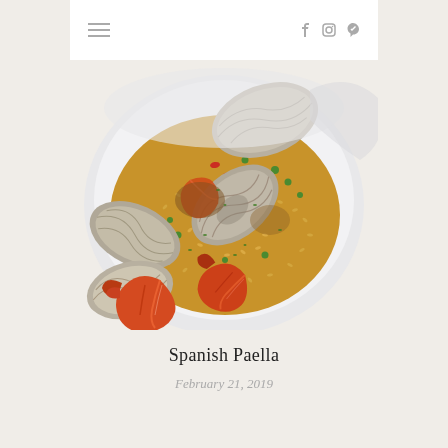≡  f  ⊙  p
[Figure (photo): Close-up photo of Spanish Paella dish showing saffron rice with clams, shrimp, peas, and red peppers in a white bowl]
Spanish Paella
February 21, 2019